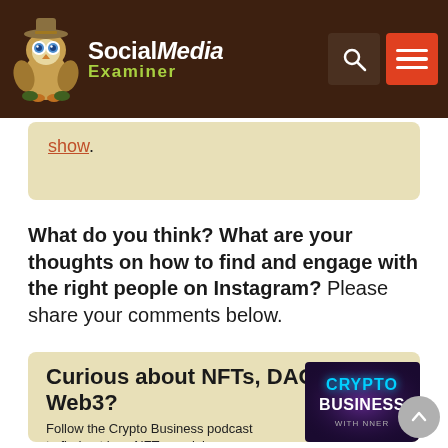Social Media Examiner
show.
What do you think? What are your thoughts on how to find and engage with the right people on Instagram? Please share your comments below.
Curious about NFTs, DAOs, and Web3?
Follow the Crypto Business podcast to find out how NFTs, social
[Figure (screenshot): Crypto Business podcast cover art with purple background and stylized text reading CRYPTO BUSINESS WITH NNER]